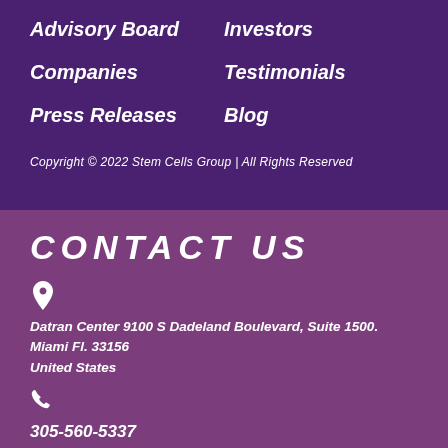Advisory Board
Investors
Companies
Testimonials
Press Releases
Blog
Copyright © 2022 Stem Cells Group | All Rights Reserved
CONTACT US
[Figure (other): Location pin icon]
Datran Center 9100 S Dadeland Boulevard, Suite 1500. Miami Fl. 33156 United States
[Figure (other): Phone icon]
305-560-5337